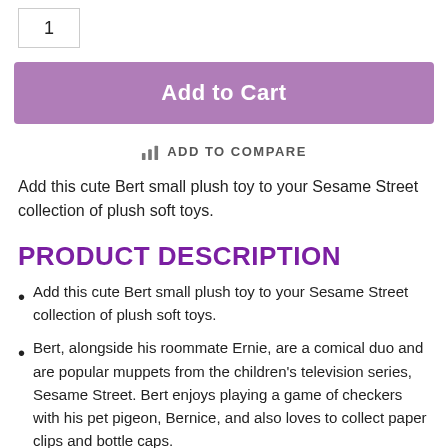1
Add to Cart
ADD TO COMPARE
Add this cute Bert small plush toy to your Sesame Street collection of plush soft toys.
PRODUCT DESCRIPTION
Add this cute Bert small plush toy to your Sesame Street collection of plush soft toys.
Bert, alongside his roommate Ernie, are a comical duo and are popular muppets from the children's television series, Sesame Street. Bert enjoys playing a game of checkers with his pet pigeon, Bernice, and also loves to collect paper clips and bottle caps.